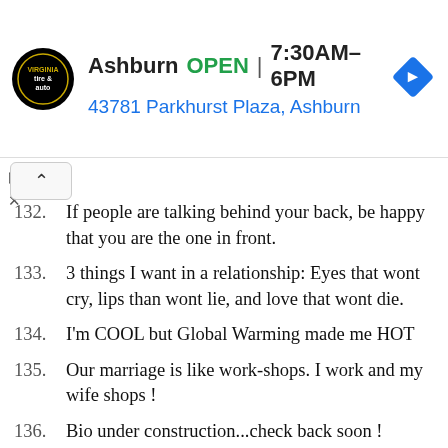[Figure (other): Advertisement banner for a Virginia Tire & Auto shop in Ashburn. Shows a round black logo with 'tire & auto' text, store name 'Ashburn', open status 'OPEN', hours '7:30AM–6PM', address '43781 Parkhurst Plaza, Ashburn', and a blue diamond navigation arrow icon.]
132. If people are talking behind your back, be happy that you are the one in front.
133. 3 things I want in a relationship: Eyes that wont cry, lips than wont lie, and love that wont die.
134. I'm COOL but Global Warming made me HOT
135. Our marriage is like work-shops. I work and my wife shops !
136. Bio under construction...check back soon !